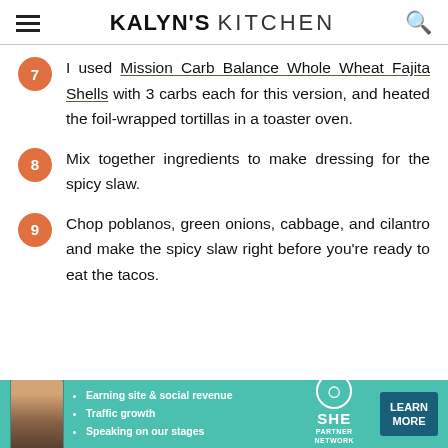KALYN'S KITCHEN
I used Mission Carb Balance Whole Wheat Fajita Shells with 3 carbs each for this version, and heated the foil-wrapped tortillas in a toaster oven.
Mix together ingredients to make dressing for the spicy slaw.
Chop poblanos, green onions, cabbage, and cilantro and make the spicy slaw right before you're ready to eat the tacos.
[Figure (other): SHE Partner Network advertisement banner with woman photo, bullet points about earning, traffic growth, speaking on stages, and a Learn More button]